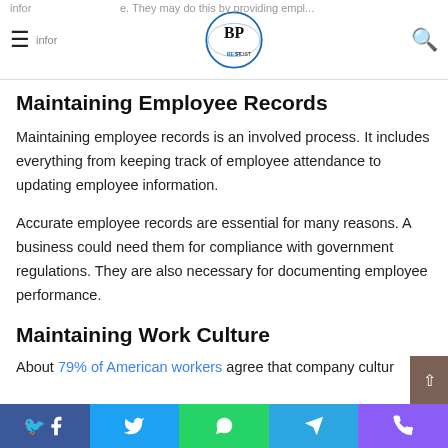Best Post — navigation bar with logo
Maintaining Employee Records
Maintaining employee records is an involved process. It includes everything from keeping track of employee attendance to updating employee information.
Accurate employee records are essential for many reasons. A business could need them for compliance with government regulations. They are also necessary for documenting employee performance.
Maintaining Work Culture
About 79% of American workers agree that company cultur…
Social share buttons: Facebook, Twitter, WhatsApp, Telegram, Phone